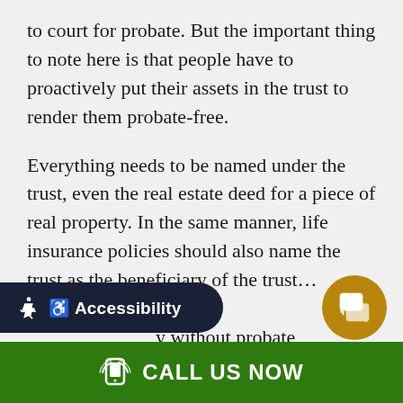to court for probate. But the important thing to note here is that people have to proactively put their assets in the trust to render them probate-free.
Everything needs to be named under the trust, even the real estate deed for a piece of real property. In the same manner, life insurance policies should also name the trust as the beneficiary of the trust... control the life-... without probate
[Figure (other): Accessibility button overlay with wheelchair icon and text 'Accessibility' on dark navy rounded rectangle]
[Figure (other): Gold circular chat/message button in bottom right corner]
CALL US NOW